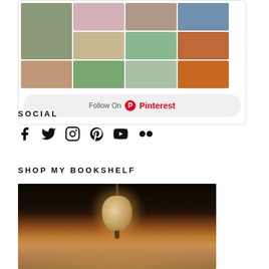[Figure (screenshot): Pinterest widget showing a grid of home interior photos with a Follow On Pinterest button]
SOCIAL
[Figure (infographic): Row of social media icons: Facebook, Twitter, Instagram, Pinterest, YouTube, Flickr]
SHOP MY BOOKSHELF
[Figure (photo): Photo of a crystal chandelier lit up against a dark ceiling, warm glow below]